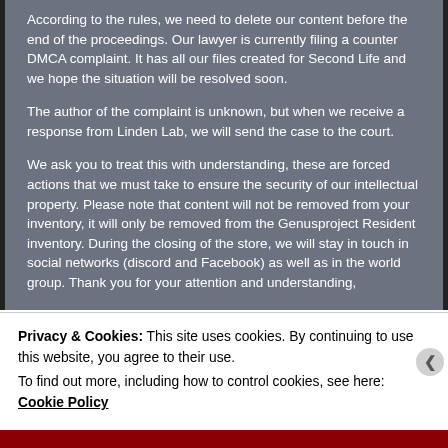According to the rules, we need to delete our content before the end of the proceedings. Our lawyer is currently filing a counter DMCA complaint. It has all our files created for Second Life and we hope the situation will be resolved soon.
The author of the complaint is unknown, but when we receive a response from Linden Lab, we will send the case to the court.
We ask you to treat this with understanding, these are forced actions that we must take to ensure the security of our intellectual property. Please note that content will not be removed from your inventory, it will only be removed from the Genusproject Resident inventory. During the closing of the store, we will stay in touch in social networks (discord and Facebook) as well as in the world group. Thank you for your attention and understanding,
Privacy & Cookies: This site uses cookies. By continuing to use this website, you agree to their use.
To find out more, including how to control cookies, see here: Cookie Policy